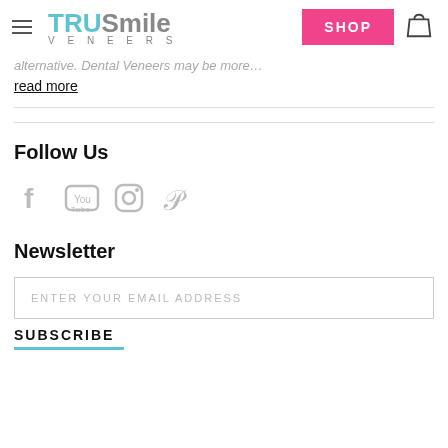TRUSmile VENEERS — SHOP
…alternative. Dental Veneers may be more…
read more
Follow Us
[Figure (illustration): Social media icons: Facebook, YouTube, Instagram, Pinterest]
Newsletter
ENTER YOUR EMAIL ADDRESS
SUBSCRIBE